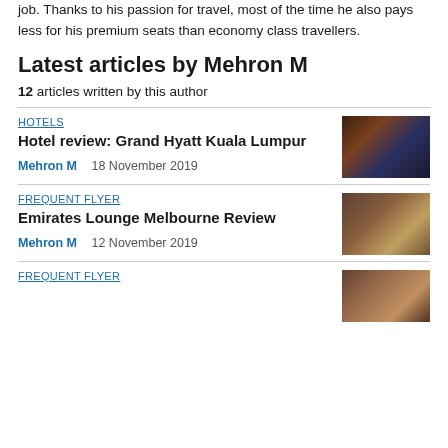job. Thanks to his passion for travel, most of the time he also pays less for his premium seats than economy class travellers.
Latest articles by Mehron M
12 articles written by this author
HOTELS
Hotel review: Grand Hyatt Kuala Lumpur
Mehron M  18 November 2019
[Figure (photo): Hotel room photo showing a bed with warm lighting and city view]
FREQUENT FLYER
Emirates Lounge Melbourne Review
Mehron M  12 November 2019
[Figure (photo): Emirates lounge entrance with dark wood paneling]
FREQUENT FLYER